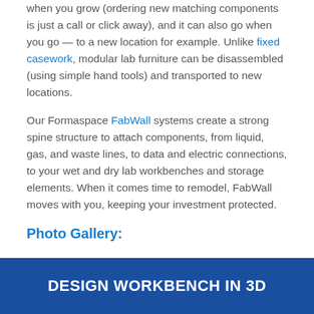when you grow (ordering new matching components is just a call or click away), and it can also go when you go — to a new location for example. Unlike fixed casework, modular lab furniture can be disassembled (using simple hand tools) and transported to new locations.
Our Formaspace FabWall systems create a strong spine structure to attach components, from liquid, gas, and waste lines, to data and electric connections, to your wet and dry lab workbenches and storage elements. When it comes time to remodel, FabWall moves with you, keeping your investment protected.
Photo Gallery:
DESIGN WORKBENCH IN 3D